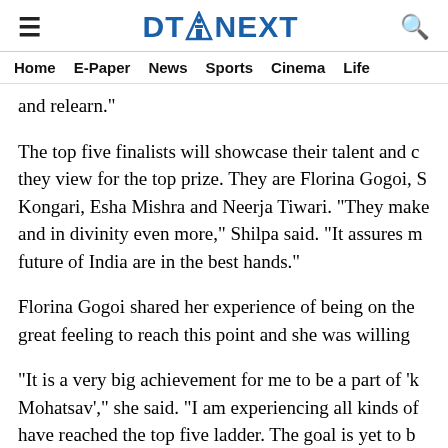DT NEXT
Home  E-Paper  News  Sports  Cinema  Life
and relearn."
The top five finalists will showcase their talent and c... they view for the top prize. They are Florina Gogoi, S... Kongari, Esha Mishra and Neerja Tiwari. "They make... and in divinity even more," Shilpa said. "It assures m... future of India are in the best hands."
Florina Gogoi shared her experience of being on the... great feeling to reach this point and she was willing...
"It is a very big achievement for me to be a part of 'k... Mohatsav'," she said. "I am experiencing all kinds of... have reached the top five ladder. The goal is yet to b...